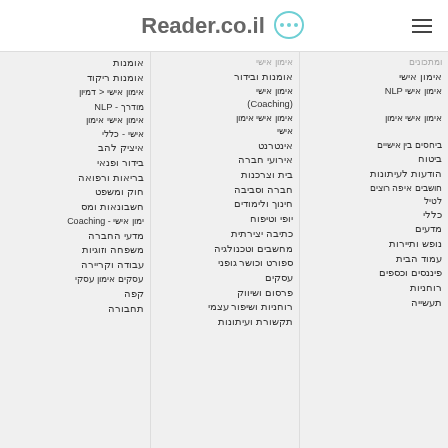Reader.co.il
אומנות
אומנות ריקוד
אימון אישי < דמיון
מודרך - NLP
אימון אישי אימון אישי - כללי
איציק להב
בידור ופנאי
בריאות ורפואה
חוק ומשפט
חשבונאות ומס
ימון אישי - Coaching
מדעי החברה
משפחה וזוגיות
עבודה וקריירה
עסקים אימון עסקי
קפה
תחבורה
אומנות ובידור
אימון אישי (Coaching)
אימון אישי אימון אישי
אינטרנט
אירועי חברה
בית וצרכנות
חברה וסביבה
חינוך ולימודים
יופי וטיפוח
כתיבה יצירתית
מחשבים וטכנולגיה
ספורט וכושר גופני
עסקים
פרסום ושיווק
רוחניות ושיפור עצמי
תקשורת ועיתונות
ומתכונים
אימון אישי
אימון אישי NLP
אימון אישי אימון
ביחסים בין אישיים
ביטוח
הודעות לעיתונות
חושבים איפה רוצים לטיל
כללי
מדעים
נופש ותיירות
עמוד הבית
פיננסים וכספים
רוחניות
תעשייה